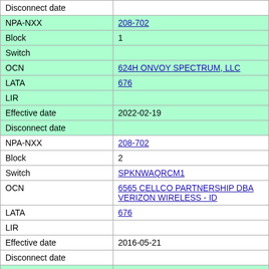| Disconnect date |  |
| NPA-NXX | 208-702 |
| Block | 1 |
| Switch |  |
| OCN | 624H ONVOY SPECTRUM, LLC |
| LATA | 676 |
| LIR |  |
| Effective date | 2022-02-19 |
| Disconnect date |  |
| NPA-NXX | 208-702 |
| Block | 2 |
| Switch | SPKNWAQRCM1 |
| OCN | 6565 CELLCO PARTNERSHIP DBA VERIZON WIRELESS - ID |
| LATA | 676 |
| LIR |  |
| Effective date | 2016-05-21 |
| Disconnect date |  |
| NPA-NXX | 208-702 |
| Block | 3 |
| Switch | SPKNWAQRCM1 |
| OCN | 6565 CELLCO PARTNERSHIP |